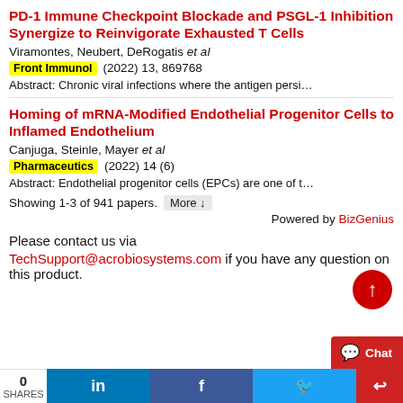PD-1 Immune Checkpoint Blockade and PSGL-1 Inhibition Synergize to Reinvigorate Exhausted T Cells
Viramontes, Neubert, DeRogatis et al
Front Immunol (2022) 13, 869768
Abstract: Chronic viral infections where the antigen persi…
Homing of mRNA-Modified Endothelial Progenitor Cells to Inflamed Endothelium
Canjuga, Steinle, Mayer et al
Pharmaceutics (2022) 14 (6)
Abstract: Endothelial progenitor cells (EPCs) are one of t…
Showing 1-3 of 941 papers. More ↓
Powered by BizGenius
Please contact us via
TechSupport@acrobiosystems.com if you have any question on this product.
0 SHARES | LinkedIn | Facebook | Twitter | Chat